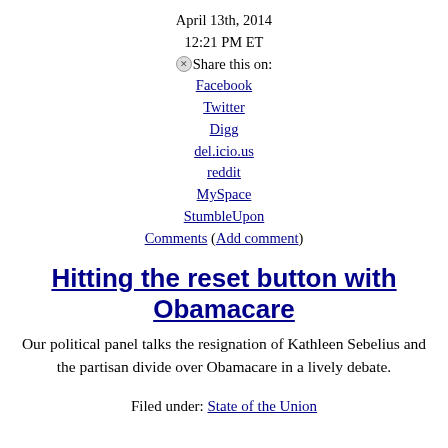April 13th, 2014
12:21 PM ET
✕Share this on:
Facebook
Twitter
Digg
del.icio.us
reddit
MySpace
StumbleUpon
Comments (Add comment)
Hitting the reset button with Obamacare
Our political panel talks the resignation of Kathleen Sebelius and the partisan divide over Obamacare in a lively debate.
Filed under: State of the Union